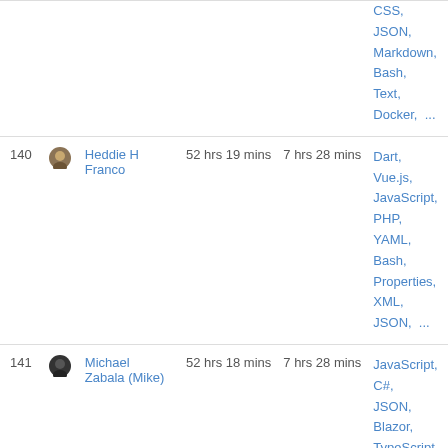| # | Name | Total | Daily Avg | Languages |
| --- | --- | --- | --- | --- |
|  |  |  |  | CSS, JSON, Markdown, Bash, Text, Docker, ... |
| 140 | Heddie H Franco | 52 hrs 19 mins | 7 hrs 28 mins | Dart, Vue.js, JavaScript, PHP, YAML, Bash, Properties, XML, JSON, ... |
| 141 | Michael Zabala (Mike) | 52 hrs 18 mins | 7 hrs 28 mins | JavaScript, C#, JSON, Blazor, TypeScript, SQL, Markdown, Bash, Git Config, ... |
| 142 | Timur Kamaev | 52 hrs 1 min | 7 hrs 25 mins | PHP, JavaScript, JSON, CSS, XML, Markdown, Text, GitIgnore file, Makefile, ... |
| 143 | Abbas Srour | 51 hrs 57 mins | 7 hrs 25 mins | TypeScript, SCSS, YAML, Prisma, Docker, .env file, JSON, |